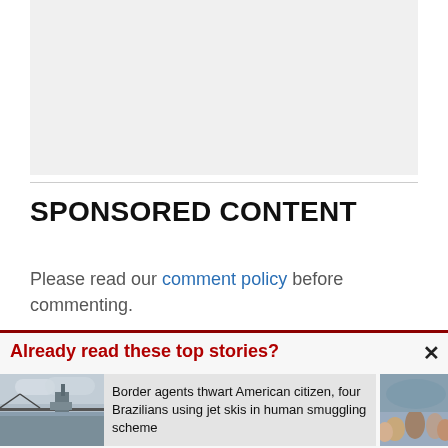[Figure (other): Gray advertisement placeholder rectangle]
SPONSORED CONTENT
Please read our comment policy before commenting.
Already read these top stories?
[Figure (photo): Harbor scene with bridge and industrial buildings under cloudy sky]
Border agents thwart American citizen, four Brazilians using jet skis in human smuggling scheme
[Figure (photo): Partial image of crowd of people]